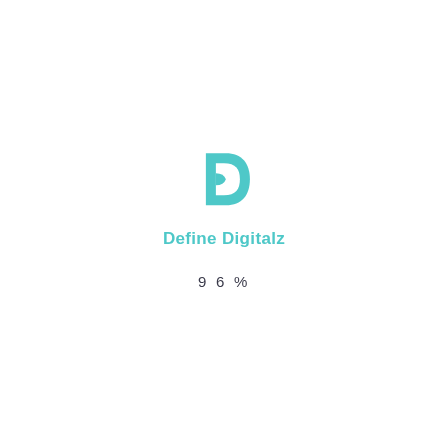[Figure (logo): Define Digitalz logo: a teal/turquoise stylized D shape with a curved inner cutout, resembling a bold italic D with a notch]
Define Digitalz
96%